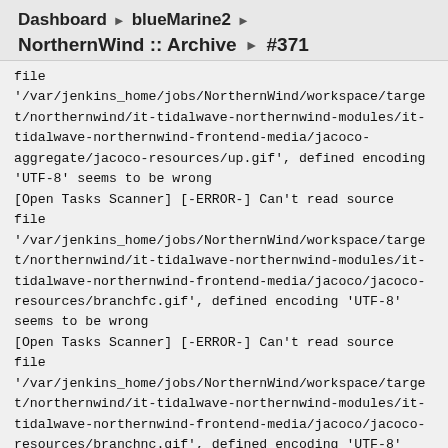Dashboard ▶ blueMarine2 ▶
NorthernWind :: Archive ▶ #371
file
'/var/jenkins_home/jobs/NorthernWind/workspace/target/northernwind/it-tidalwave-northernwind-modules/it-tidalwave-northernwind-frontend-media/jacoco-aggregate/jacoco-resources/up.gif', defined encoding 'UTF-8' seems to be wrong
[Open Tasks Scanner] [-ERROR-] Can't read source file
'/var/jenkins_home/jobs/NorthernWind/workspace/target/northernwind/it-tidalwave-northernwind-modules/it-tidalwave-northernwind-frontend-media/jacoco/jacoco-resources/branchfc.gif', defined encoding 'UTF-8' seems to be wrong
[Open Tasks Scanner] [-ERROR-] Can't read source file
'/var/jenkins_home/jobs/NorthernWind/workspace/target/northernwind/it-tidalwave-northernwind-modules/it-tidalwave-northernwind-frontend-media/jacoco/jacoco-resources/branchnc.gif', defined encoding 'UTF-8'